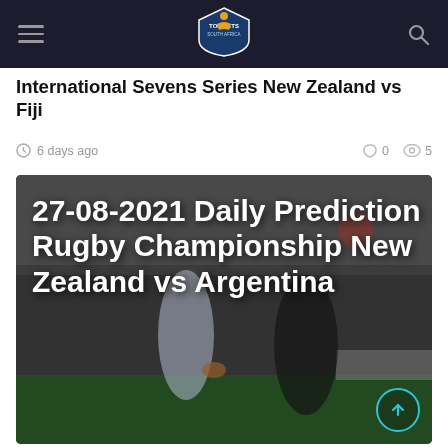Top Bets South Africa navigation bar
International Sevens Series New Zealand vs Fiji
6 days ago   0   5
[Figure (photo): Rugby players on field. One player in blue and white Argentina strip carries ball, facing a defender in all-black New Zealand kit. Crowd in background. Large white bold text overlay reads: 27-08-2021 Daily Prediction Rugby Championship New Zealand vs Argentina]